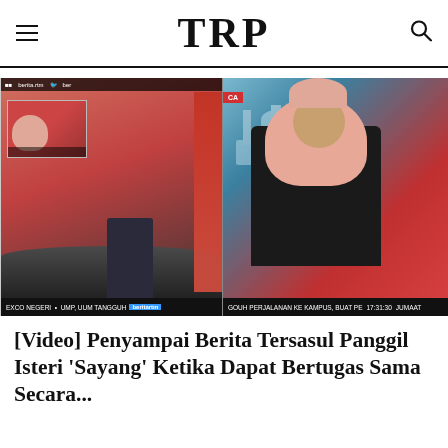TRP
[Figure (screenshot): Two side-by-side TV news broadcast screenshots. Left: male anchor standing in a news studio with red backdrop. Right: female anchor wearing a pink hijab and dark blazer presenting news, with a mosque visible in the background graphic. Lower-thirds ticker visible on both.]
[Video] Penyampai Berita Tersasul Panggil Isteri 'Sayang' Ketika Dapat Bertugas Sama Secara...